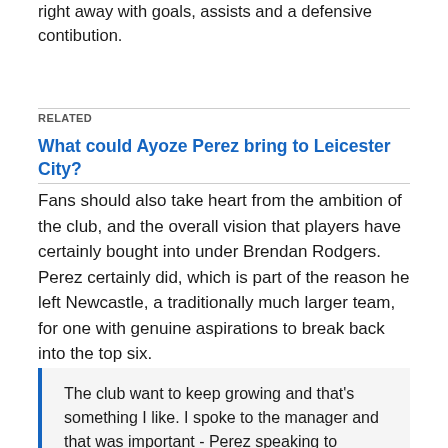right away with goals, assists and a defensive contibution.
RELATED
What could Ayoze Perez bring to Leicester City?
Fans should also take heart from the ambition of the club, and the overall vision that players have certainly bought into under Brendan Rodgers. Perez certainly did, which is part of the reason he left Newcastle, a traditionally much larger team, for one with genuine aspirations to break back into the top six.
The club want to keep growing and that's something I like. I spoke to the manager and that was important - Perez speaking to LCFC.com after signing